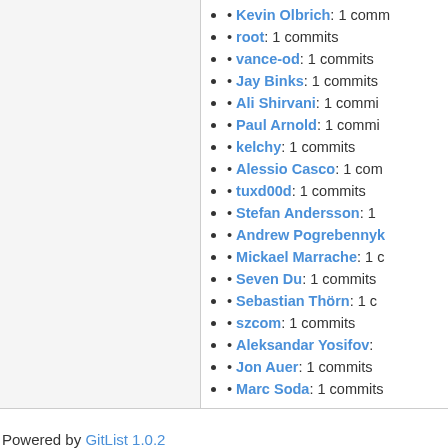Kevin Olbrich: 1 commits
root: 1 commits
vance-od: 1 commits
Jay Binks: 1 commits
Ali Shirvani: 1 commits
Paul Arnold: 1 commits
kelchy: 1 commits
Alessio Casco: 1 commits
tuxd00d: 1 commits
Stefan Andersson: 1 commits
Andrew Pogrebennyk: 1 commits
Mickael Marrache: 1 commits
Seven Du: 1 commits
Sebastian Thörn: 1 commits
szcom: 1 commits
Aleksandar Yosifov: 1 commits
Jon Auer: 1 commits
Marc Soda: 1 commits
Powered by GitList 1.0.2